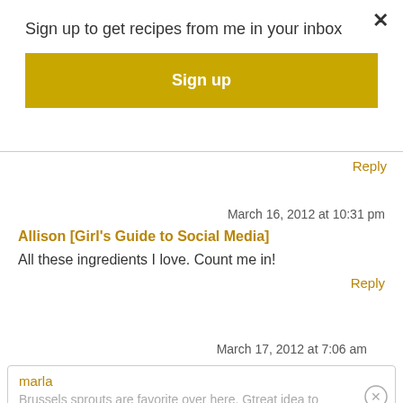Sign up to get recipes from me in your inbox
Sign up
Reply
March 16, 2012 at 10:31 pm
Allison [Girl's Guide to Social Media]
All these ingredients I love. Count me in!
Reply
March 17, 2012 at 7:06 am
marla
Brussels sprouts are favorite over here. Gtreat idea to